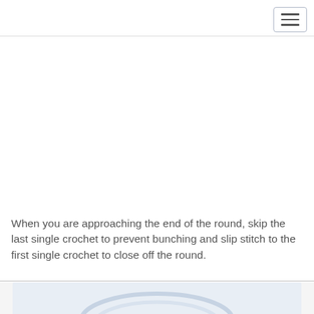[Figure (photo): Large blank/white image area representing a crochet instructional photo placeholder]
When you are approaching the end of the round, skip the last single crochet to prevent bunching and slip stitch to the first single crochet to close off the round.
[Figure (photo): Partial photo of crocheted item with light blue/lavender colors visible at bottom of page]